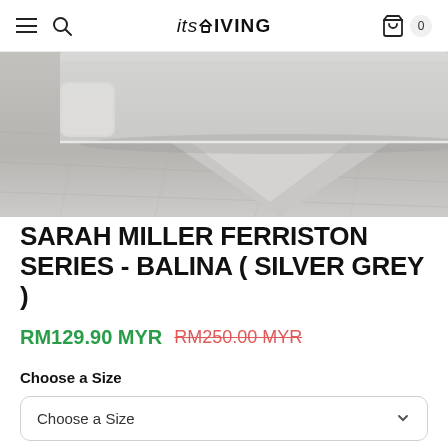itsLIVING
[Figure (photo): Product photo of white/silver grey bedding set (bolster/pillow) laid on a light wood floor, viewed from above at an angle showing the bottom of the bed.]
SARAH MILLER FERRISTON SERIES - BALINA ( SILVER GREY )
RM129.90 MYR  RM250.00 MYR
Choose a Size
Choose a Size